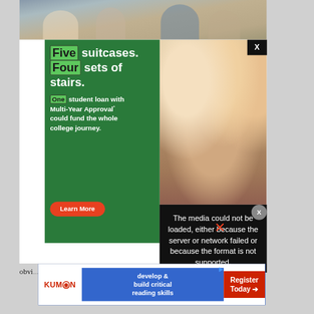[Figure (photo): Top of page: blurred photo of students sitting at a table in a classroom setting, partial view]
[Figure (infographic): Green advertisement panel: 'Five suitcases. Four sets of stairs. One student loan with Multi-Year Approval could fund the whole college journey.' with orange Learn More button. Right side shows photo of four young women sitting on a couch laughing.]
The media could not be loaded, either because the server or network failed or because the format is not supported.
Blue remains the color like m... obvi...
[Figure (infographic): Kumon bottom banner: KUMON logo with text 'develop & build critical reading skills' and 'Register Today →' button]